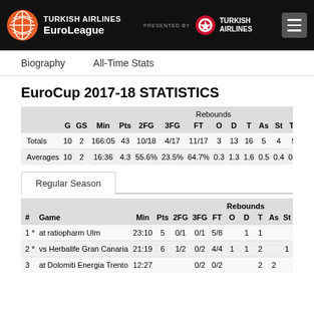[Figure (logo): Turkish Airlines EuroLeague logo with navigation header including Biography and All-Time Stats links]
EuroCup 2017-18 STATISTICS
|  | G | GS | Min | Pts | 2FG | 3FG | FT | O | D | T | As | St | To | Fv | Ag | Cm |
| --- | --- | --- | --- | --- | --- | --- | --- | --- | --- | --- | --- | --- | --- | --- | --- | --- |
| Totals | 10 | 2 | 166:05 | 43 | 10/18 | 4/17 | 11/17 | 3 | 13 | 16 | 5 | 4 | 5 | 0 | 1 | 17 |
| Averages | 10 | 2 | 16:36 | 4.3 | 55.6% | 23.5% | 64.7% | 0.3 | 1.3 | 1.6 | 0.5 | 0.4 | 0.5 | 0 | 0.1 | 1.7 |
Regular Season
| # | Game | Min | Pts | 2FG | 3FG | FT | O | D | T | As | St |
| --- | --- | --- | --- | --- | --- | --- | --- | --- | --- | --- | --- |
| 1 * | at ratiopharm Ulm | 23:10 | 5 | 0/1 | 0/1 | 5/8 |  | 1 | 1 |  |  |
| 2 * | vs Herbalife Gran Canaria | 21:19 | 6 | 1/2 | 0/2 | 4/4 | 1 | 1 | 2 |  | 1 |
| 3 | at Dolomiti Energia Trento | 12:27 |  |  | 0/2 | 0/2 |  |  | 2 | 2 |  |